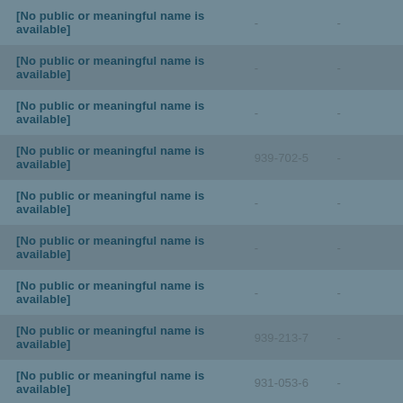| Name | ID 1 | ID 2 |
| --- | --- | --- |
| [No public or meaningful name is available] | - | - |
| [No public or meaningful name is available] | - | - |
| [No public or meaningful name is available] | - | - |
| [No public or meaningful name is available] | 939-702-5 | - |
| [No public or meaningful name is available] | - | - |
| [No public or meaningful name is available] | - | - |
| [No public or meaningful name is available] | - | - |
| [No public or meaningful name is available] | 939-213-7 | - |
| [No public or meaningful name is available] | 931-053-6 | - |